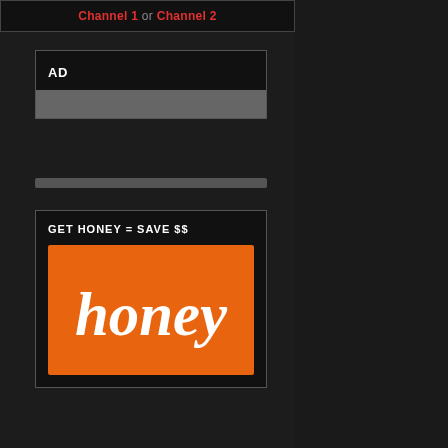Channel 1 or Channel 2
[Figure (screenshot): AD box with gray bar below the AD label]
[Figure (screenshot): Honey advertisement: GET HONEY = SAVE $$ with orange Honey logo box]
authorities they

But some would sa Things are the wo People can't agree would ask you to

Every spiritual gu transition period. worse instead of b always darkest be worst aspects of e have to fly like wi in the big picture insecurity because how bad they've b of us knows how c

Once everyone rea and learn to find p to do is to not get it is. Everything's dawning of Aquari still here, a little w